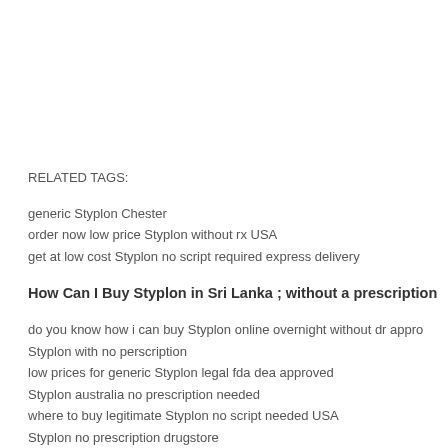RELATED TAGS:
generic Styplon Chester
order now low price Styplon without rx USA
get at low cost Styplon no script required express delivery
How Can I Buy Styplon in Sri Lanka ; without a prescription
do you know how i can buy Styplon online overnight without dr appro...
Styplon with no perscription
low prices for generic Styplon legal fda dea approved
Styplon australia no prescription needed
where to buy legitimate Styplon no script needed USA
Styplon no prescription drugstore
buy safety Styplon no prescription required